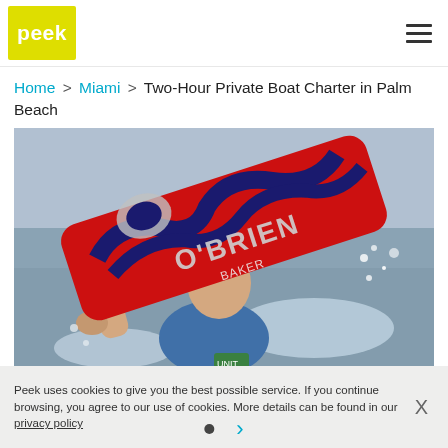peek
Home > Miami > Two-Hour Private Boat Charter in Palm Beach
[Figure (photo): Action photo of a person holding a red and navy O'Brien Baker wakeboard, with water splashing around them]
Peek uses cookies to give you the best possible service. If you continue browsing, you agree to our use of cookies. More details can be found in our privacy policy